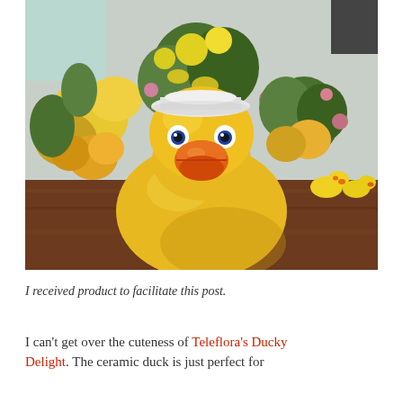[Figure (photo): A large yellow ceramic rubber duck vase wearing a white sailor/bonnet hat, holding a flower arrangement of yellow roses and wildflowers on a wooden table. Two small rubber ducks are visible in the background on the right.]
I received product to facilitate this post.
I can't get over the cuteness of Teleflora's Ducky Delight. The ceramic duck is just perfect for